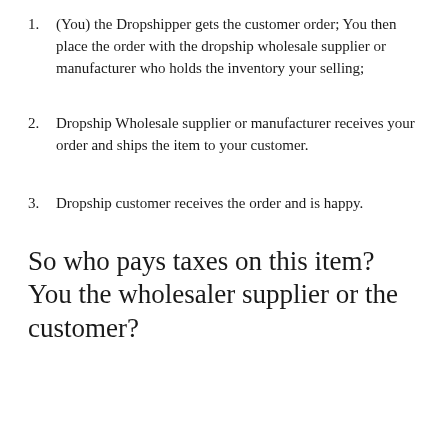(You) the Dropshipper gets the customer order; You then place the order with the dropship wholesale supplier or manufacturer who holds the inventory your selling;
Dropship Wholesale supplier or manufacturer receives your order and ships the item to your customer.
Dropship customer receives the order and is happy.
So who pays taxes on this item? You the wholesaler supplier or the customer?